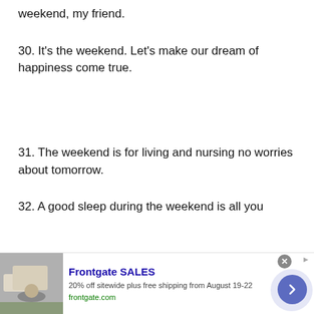weekend, my friend.
30. It’s the weekend. Let’s make our dream of happiness come true.
31. The weekend is for living and nursing no worries about tomorrow.
32. A good sleep during the weekend is all you
[Figure (screenshot): Advertisement banner for Frontgate SALES: 20% off sitewide plus free shipping from August 19-22, frontgate.com, with image of outdoor furniture with fire pit, close button, and arrow navigation button.]